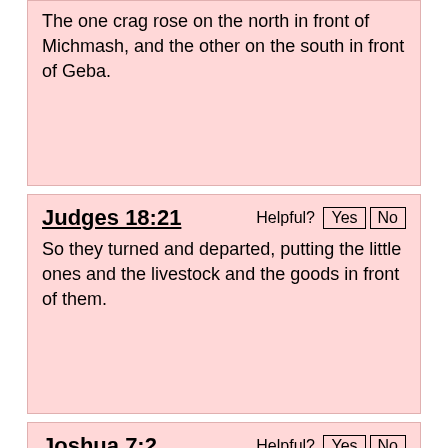The one crag rose on the north in front of Michmash, and the other on the south in front of Geba.
Judges 18:21
Helpful? Yes No
So they turned and departed, putting the little ones and the livestock and the goods in front of them.
Joshua 7:2
Helpful? Yes No
Joshua sent men from Jericho to Ai, which